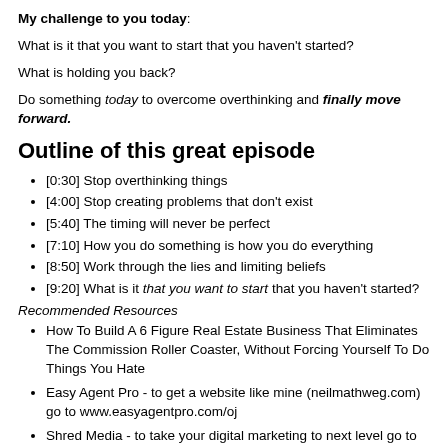My challenge to you today: What is it that you want to start that you haven't started? What is holding you back? Do something today to overcome overthinking and finally move forward.
Outline of this great episode
[0:30] Stop overthinking things
[4:00] Stop creating problems that don't exist
[5:40] The timing will never be perfect
[7:10] How you do something is how you do everything
[8:50] Work through the lies and limiting beliefs
[9:20] What is it that you want to start that you haven't started?
Recommended Resources
How To Build A 6 Figure Real Estate Business That Eliminates The Commission Roller Coaster, Without Forcing Yourself To Do Things You Hate
Easy Agent Pro - to get a website like mine (neilmathweg.com) go to www.easyagentpro.com/oj
Shred Media - to take your digital marketing to next level go to www.ShredMedia.com
To hear more great shows like Agent Rise visit